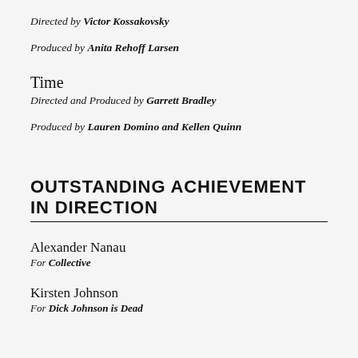Directed by Victor Kossakovsky
Produced by Anita Rehoff Larsen
Time
Directed and Produced by Garrett Bradley
Produced by Lauren Domino and Kellen Quinn
OUTSTANDING ACHIEVEMENT IN DIRECTION
Alexander Nanau
For Collective
Kirsten Johnson
For Dick Johnson is Dead